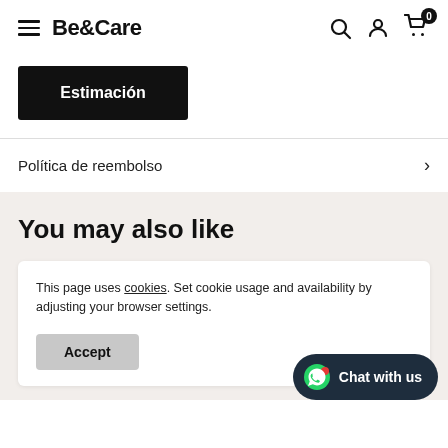Be&Care
Estimación
Política de reembolso
You may also like
This page uses cookies. Set cookie usage and availability by adjusting your browser settings.
Accept
Chat with us